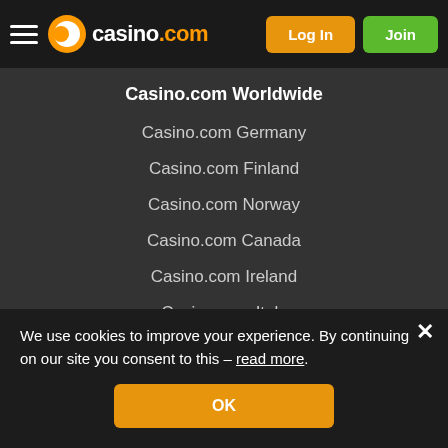casino.com — Log In | Join
Casino.com Worldwide
Casino.com Germany
Casino.com Finland
Casino.com Norway
Casino.com Canada
Casino.com Ireland
Casino.com Italy
Casino.com New Zealand
Casino.com Canada FR
Casino.com Africa
Casino.com Chile
Casino.com Iceland
We use cookies to improve your experience. By continuing on our site you consent to this – read more.
OK